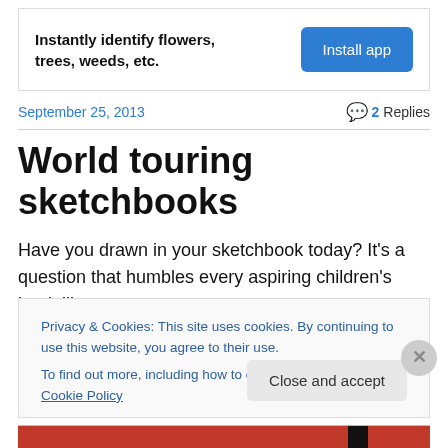[Figure (infographic): Advertisement banner: 'Instantly identify flowers, trees, weeds, etc.' with a blue 'Install app' button]
September 25, 2013
2 Replies
World touring sketchbooks
Have you drawn in your sketchbook today? It's a question that humbles every aspiring children's book illustrator.
Privacy & Cookies: This site uses cookies. By continuing to use this website, you agree to their use.
To find out more, including how to control cookies, see here: Cookie Policy